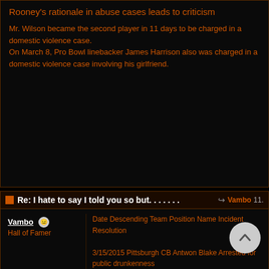Rooney's rationale in abuse cases leads to criticism
Mr. Wilson became the second player in 11 days to be charged in a domestic violence case. On March 8, Pro Bowl linebacker James Harrison also was charged in a domestic violence case involving his girlfriend.
Re: I hate to say I told you so but. . . . . . .
Vambo
Hall of Famer
Date Descending Team Position Name Incident Resolution

3/15/2015 Pittsburgh CB Antwon Blake Arrested for public drunkenness

8/20/2014 Pittsburgh RB Le'Veon Bell Charged with DUI and marijuana stop in Ross Township, a Pittsburgh suburb. Agreed to enter first-offender probation. Two game league suspension.

8/20/2014 Pittsburgh RB LeGarrette Blount Charged with marijuana possession over Le'Veon Bell's Chevrolet Camaro in a Pittsburgh suburb. Charges dropped for 50 hours of community service.